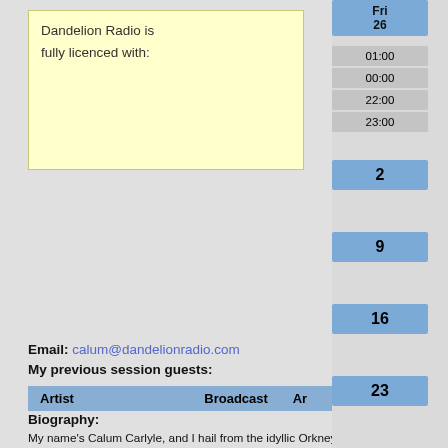Dandelion Radio is fully licenced with:
| Artist | Broadcast | An... |
| --- | --- | --- |
Biography:
My name's Calum Carlyle, and I hail from the idyllic Orkney is... twentieth century. I've been listening to, playing, writing and re... remember. Now as a seasoned adult, living in the bustling city... music as much as my free time allows. I've been in several ba... years I've also been a music DJ on the community radio statio... Radio listener from the very start, and of course an avid listen... able to play the music I love on Dandelion Radio.
Tracklistings and listen again to the previous shows:
2022 Jul - Jun - May - Apr - Mar - Feb